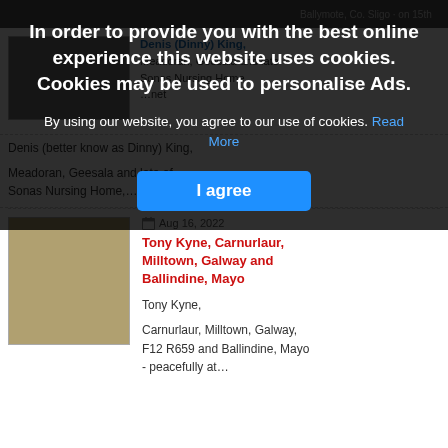[Figure (screenshot): Cookie consent overlay dialog on a website showing obituaries. The overlay has a dark semi-transparent background with white bold text reading 'In order to provide you with the best online experience this website uses cookies. Cookies may be used to personalise Ads.' followed by body text and a blue 'I agree' button. Below the overlay, two obituary listings are visible: one for Denis (Dinny) King and one for Tony Kyne, Carnurlaur, Milltown, Galway and Ballindine, Mayo with date Aug 16, 2022.]
In order to provide you with the best online experience this website uses cookies. Cookies may be used to personalise Ads.
By using our website, you agree to our use of cookies. Read More
I agree
Denis (better know as Dinny) King,
Meadoran, Geesala and late of Sonas Nursing Home,…
Aug 16, 2022
Tony Kyne, Carnurlaur, Milltown, Galway and Ballindine, Mayo
Tony Kyne,
Carnurlaur, Milltown, Galway, F12 R659 and Ballindine, Mayo - peacefully at…